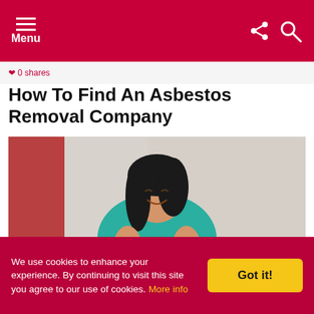Menu
How To Find An Asbestos Removal Company
[Figure (photo): A young Asian woman in a teal top smiling while looking at her smartphone, standing against a light grey wall.]
We use cookies to enhance your experience. By continuing to visit this site you agree to our use of cookies. More info